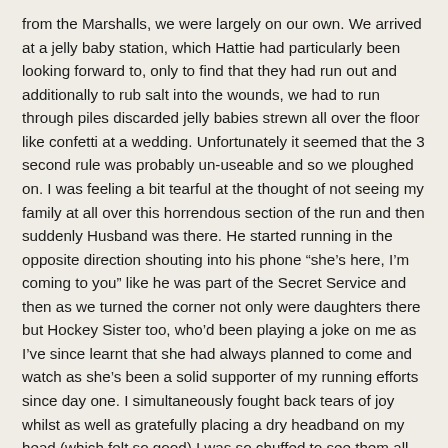from the Marshalls, we were largely on our own. We arrived at a jelly baby station, which Hattie had particularly been looking forward to, only to find that they had run out and additionally to rub salt into the wounds, we had to run through piles discarded jelly babies strewn all over the floor like confetti at a wedding. Unfortunately it seemed that the 3 second rule was probably un-useable and so we ploughed on. I was feeling a bit tearful at the thought of not seeing my family at all over this horrendous section of the run and then suddenly Husband was there. He started running in the opposite direction shouting into his phone “she’s here, I’m coming to you” like he was part of the Secret Service and then as we turned the corner not only were daughters there but Hockey Sister too, who’d been playing a joke on me as I’ve since learnt that she had always planned to come and watch as she’s been a solid supporter of my running efforts since day one. I simultaneously fought back tears of joy whilst as well as gratefully placing a dry headband on my head (which felt so good) I was so chuffed to see them all that suddenly I felt like I could keep going. I didn’t want to walk in front of my daughters and so Hattie and I chugged on.